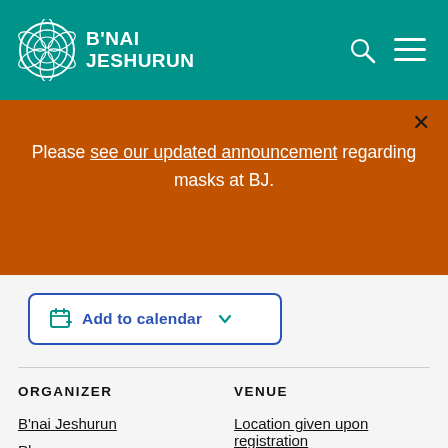B'NAI JESHURUN
Please see our updated announcement regarding masks at BJ.
Add to calendar
ORGANIZER
VENUE
B'nai Jeshurun
Location given upon registration
Phone: